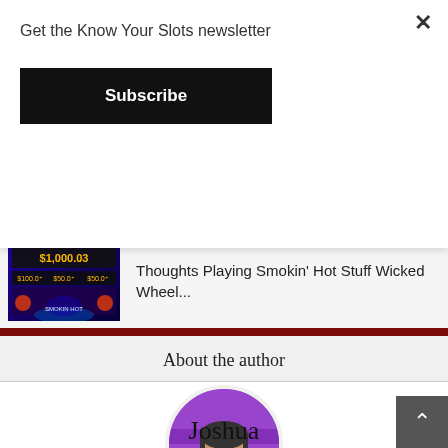Get the Know Your Slots newsletter
Subscribe
[Figure (screenshot): Smokin Hot Stuff Wicked Wheel slot machine showing $1,000.03 jackpot display]
Thoughts Playing Smokin' Hot Stuff Wicked Wheel...
About the author
[Figure (photo): Circular profile photo of a man with glasses smiling, with purple/pink lighting in background]
Joshua